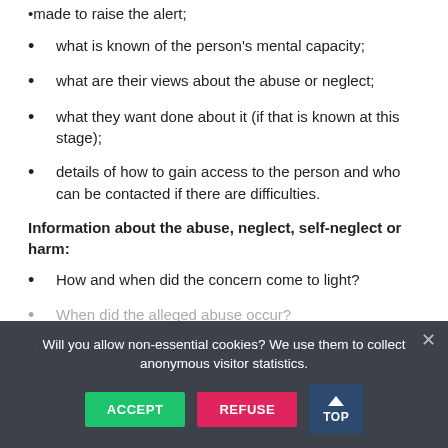made to raise the alert;
what is known of the person's mental capacity;
what are their views about the abuse or neglect;
what they want done about it (if that is known at this stage);
details of how to gain access to the person and who can be contacted if there are difficulties.
Information about the abuse, neglect, self-neglect or harm:
How and when did the concern come to light?
When did the alleged abuse occur?
Where did the alleged abuse take place?